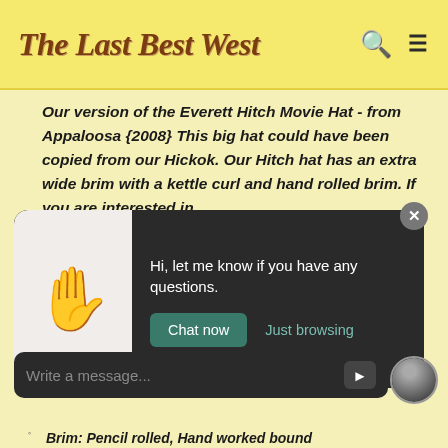The Last Best West
Our version of the Everett Hitch Movie Hat - from Appaloosa {2008} This big hat could have been copied from our Hickok. Our Hitch hat has an extra wide brim with a kettle curl and hand rolled brim. If you are interested in ordering
[Figure (screenshot): Chat popup with waving hand emoji on left, dark background on right with message 'Hi, let me know if you have any questions.' and two buttons: 'Chat now' and 'Just browsing']
[Figure (screenshot): Message input bar with placeholder text 'Write a message...' and send arrow button, with user avatar thumbnail]
Color Shown: Dyed Natural
Brim: Pencil rolled, Hand worked bound